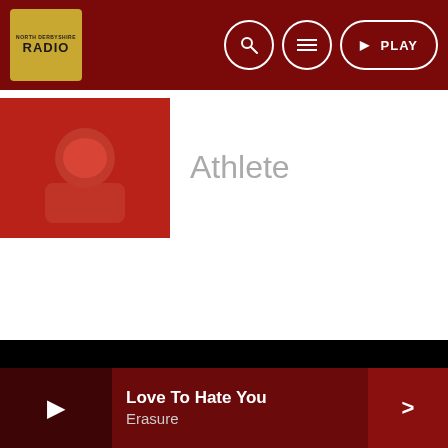North Derbyshire Radio - Logo, Search, Menu, PLAY
Athlete
COPYRIGHT THE MEDIASITE UK LTD – FOR NORTH DERBYSHIRE RADIO. PUBLIC FILE CONTACTS TERMS PRIVACY POLICY
Love To Hate You
Erasure